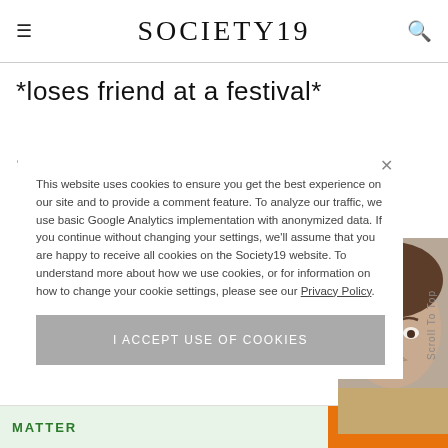SOCIETY19
*loses friend at a festival*
This website uses cookies to ensure you get the best experience on our site and to provide a comment feature. To analyze our traffic, we use basic Google Analytics implementation with anonymized data. If you continue without changing your settings, we'll assume that you are happy to receive all cookies on the Society19 website. To understand more about how we use cookies, or for information on how to change your cookie settings, please see our Privacy Policy.
I ACCEPT USE OF COOKIES
[Figure (photo): Partial view of a man's face with an expressive look, brown hair, visible on the right side of the page behind the cookie consent overlay]
Scroll To Top
LEARN MORE